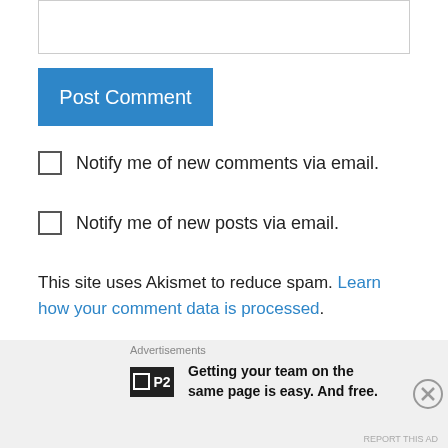[Figure (other): Empty text input field with border]
Post Comment
Notify me of new comments via email.
Notify me of new posts via email.
This site uses Akismet to reduce spam. Learn how your comment data is processed.
jomo on August 28, 2012 at 7:25 AM
@pigtookie – I love the animation mixed in with
Advertisements
Getting your team on the same page is easy. And free.